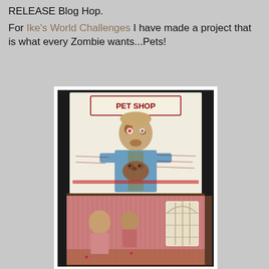RELEASE Blog Hop.
For Ike's World Challenges I have made a project that is what every Zombie wants...Pets!
[Figure (photo): A handmade craft project showing a zombie pet shop scene. Top portion shows an illustrated card of a zombie man in a blue shirt holding a brown animal, with 'PET SHOP' text at top. Bottom portion shows a decorated box with pink/red patterned walls, figures, and a birdcage window on the right side.]